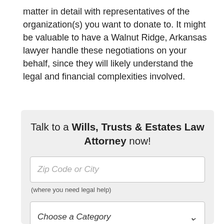matter in detail with representatives of the organization(s) you want to donate to. It might be valuable to have a Walnut Ridge, Arkansas lawyer handle these negotiations on your behalf, since they will likely understand the legal and financial complexities involved.
Talk to a Wills, Trusts & Estates Law Attorney now!
Zip Code or City
(where you need legal help)
Choose a Category
Can't find a category? Click here